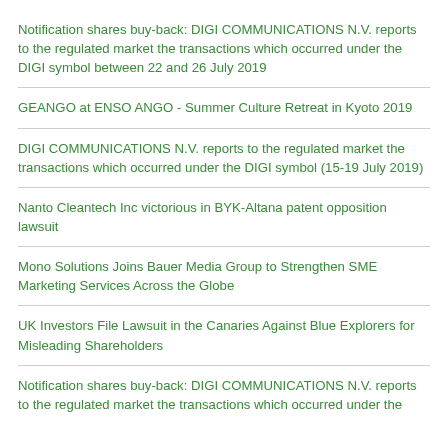Notification shares buy-back: DIGI COMMUNICATIONS N.V. reports to the regulated market the transactions which occurred under the DIGI symbol between 22 and 26 July 2019
GEANGO at ENSO ANGO - Summer Culture Retreat in Kyoto 2019
DIGI COMMUNICATIONS N.V. reports to the regulated market the transactions which occurred under the DIGI symbol (15-19 July 2019)
Nanto Cleantech Inc victorious in BYK-Altana patent opposition lawsuit
Mono Solutions Joins Bauer Media Group to Strengthen SME Marketing Services Across the Globe
UK Investors File Lawsuit in the Canaries Against Blue Explorers for Misleading Shareholders
Notification shares buy-back: DIGI COMMUNICATIONS N.V. reports to the regulated market the transactions which occurred under the...